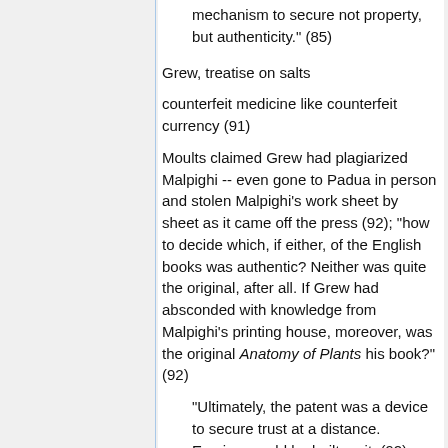mechanism to secure not property, but authenticity." (85)
Grew, treatise on salts
counterfeit medicine like counterfeit currency (91)
Moults claimed Grew had plagiarized Malpighi -- even gone to Padua in person and stolen Malpighi's work sheet by sheet as it came off the press (92); "how to decide which, if either, of the English books was authentic? Neither was quite the original, after all. If Grew had absconded with knowledge from Malpighi's printing house, moreover, was the original Anatomy of Plants his book?" (92)
"Ultimately, the patent was a device to secure trust at a distance. Empires could be built on it." (92)